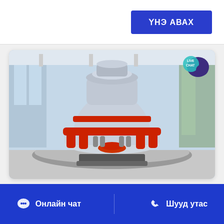ҮНЭ АВАХ
[Figure (photo): Industrial cone crusher machine displayed on a round pedestal inside a modern building with glass walls. The machine is grey and red with multiple hydraulic cylinders visible around its base.]
[Figure (illustration): Live Chat badge - teal/dark purple speech bubble icon with text LIVE CHAT]
Онлайн чат
Шууд утас